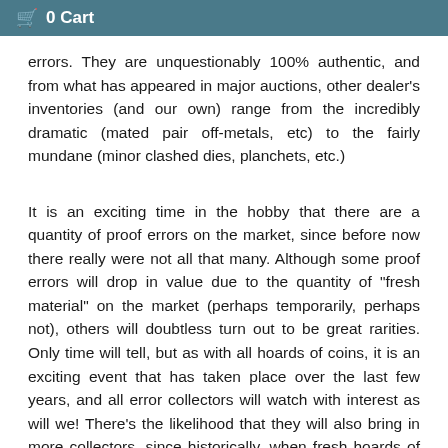🛒 0 Cart
errors. They are unquestionably 100% authentic, and from what has appeared in major auctions, other dealer's inventories (and our own) range from the incredibly dramatic (mated pair off-metals, etc) to the fairly mundane (minor clashed dies, planchets, etc.)
It is an exciting time in the hobby that there are a quantity of proof errors on the market, since before now there really were not all that many. Although some proof errors will drop in value due to the quantity of "fresh material" on the market (perhaps temporarily, perhaps not), others will doubtless turn out to be great rarities. Only time will tell, but as with all hoards of coins, it is an exciting event that has taken place over the last few years, and all error collectors will watch with interest as will we! There's the likelihood that they will also bring in more collectors, since historically, when fresh hoards of coins are discovered and come to market, they often enliven that market and result in broader collectors of serious collections.